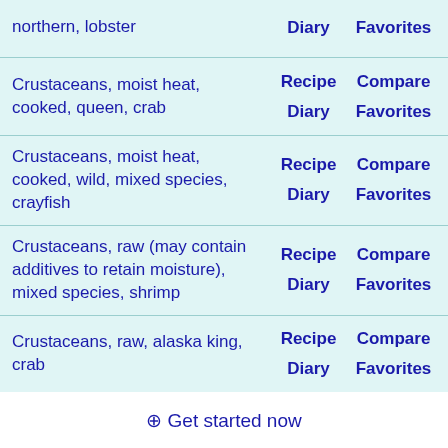northern, lobster | Diary | Favorites
Crustaceans, moist heat, cooked, queen, crab | Recipe | Compare | Diary | Favorites
Crustaceans, moist heat, cooked, wild, mixed species, crayfish | Recipe | Compare | Diary | Favorites
Crustaceans, raw (may contain additives to retain moisture), mixed species, shrimp | Recipe | Compare | Diary | Favorites
Crustaceans, raw, alaska king, crab | Recipe | Compare | Diary | Favorites
⊕ Get started now